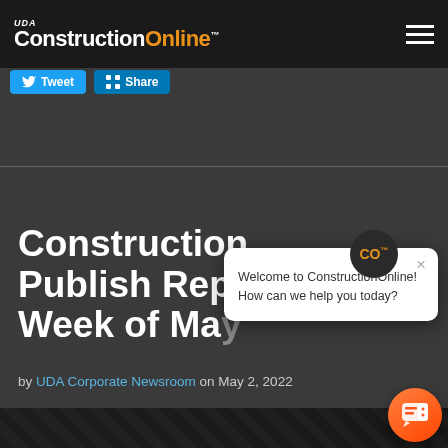UDA ConstructionOnline™
[Figure (screenshot): Tweet and Share social buttons]
ConstructionOnline Publish Reports for the Week of May...
by UDA Corporate Newsroom on May 2, 2022
[Figure (screenshot): Chat popup overlay: CO badge and Welcome to ConstructionOnline! How can we help you today? message with close button]
[Figure (photo): Bottom partial image strip, dark background]